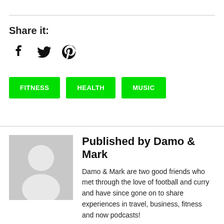Share it:
[Figure (other): Social share icons: Facebook, Twitter, Pinterest]
FITNESS
HEALTH
MUSIC
Published by Damo & Mark
[Figure (photo): Generic author avatar placeholder: grey square with white silhouette of a person]
Damo & Mark are two good friends who met through the love of football and curry and have since gone on to share experiences in travel, business, fitness and now podcasts!